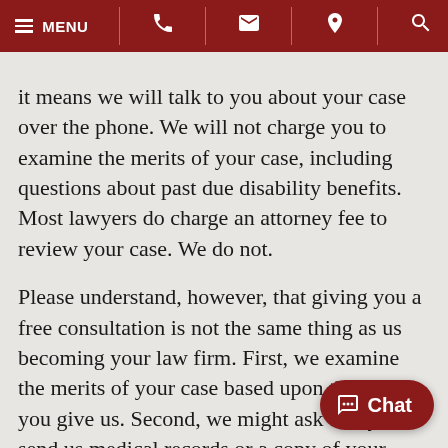MENU [phone] [email] [location] [search]
it means we will talk to you about your case over the phone. We will not charge you to examine the merits of your case, including questions about past due disability benefits. Most lawyers do charge an attorney fee to review your case. We do not.
Please understand, however, that giving you a free consultation is not the same thing as us becoming your law firm. First, we examine the merits of your case based upon the facts you give us. Second, we might ask that you send us medical records or a copy of your SSA paperwork. We do this so we can u... the details of your case. Even if we ask for more information, it does not mean we accept